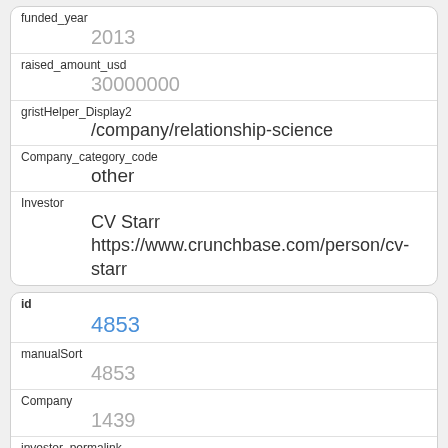| funded_year | 2013 |
| raised_amount_usd | 30000000 |
| gristHelper_Display2 | /company/relationship-science |
| Company_category_code | other |
| Investor | CV Starr https://www.crunchbase.com/person/cv-starr |
| id | 4853 |
| manualSort | 4853 |
| Company | 1439 |
| investor_permalink | /person/gary-vaynerchuk |